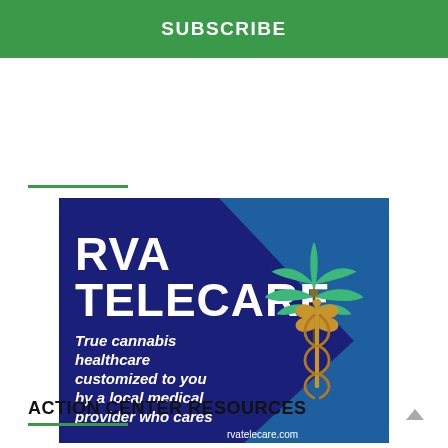SUBSCRIBE
[Figure (advertisement): RVA Telecare advertisement. Dark blue background with teal/blue geometric shapes. Large white bold text reads 'RVA TELECARE'. Below that in white bold italic: 'True cannabis healthcare customized to you by a local medical provider who cares'. Right side features a green cannabis leaf and a caduceus medical symbol in gold/brown. Bottom right shows 'rvatelecare.com' in white.]
Sponsored Content
ACTION CENTER RESOURCES